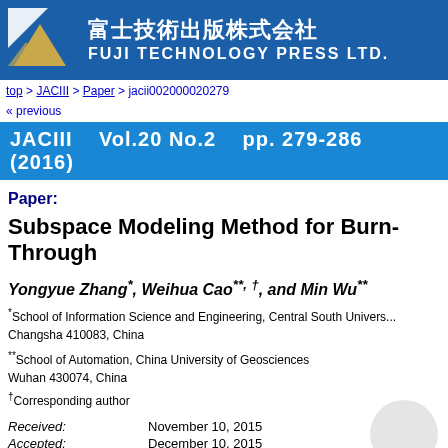[Figure (logo): Fuji Technology Press Ltd. logo with mountain graphic and Japanese/English text on blue background]
top > JACIII > Paper > jacii002000020279
« previous
JACIII   Vol.20 No.2   pp. 279-286  (2016)
Paper:
Subspace Modeling Method for Burn-Through
Yongyue Zhang*, Weihua Cao**, †, and Min Wu**
*School of Information Science and Engineering, Central South University, Changsha 410083, China
**School of Automation, China University of Geosciences Wuhan 430074, China
†Corresponding author
Received: November 10, 2015
Accepted: December 10, 2015
Online released: March 18, 2016